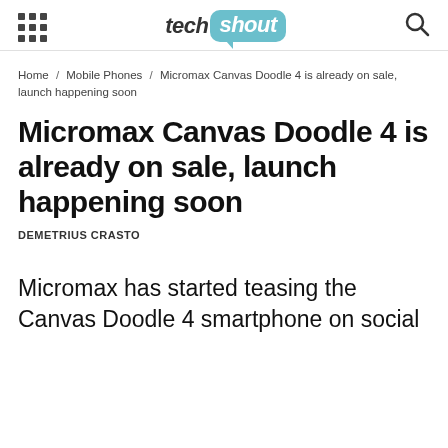tech shout
Home / Mobile Phones / Micromax Canvas Doodle 4 is already on sale, launch happening soon
Micromax Canvas Doodle 4 is already on sale, launch happening soon
DEMETRIUS CRASTO
Micromax has started teasing the Canvas Doodle 4 smartphone on social